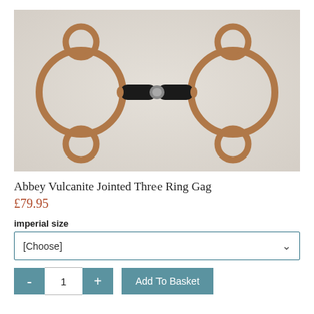[Figure (photo): Photo of an Abbey Vulcanite Jointed Three Ring Gag horse bit. The bit features two large metal rings on either side with smaller rings attached above and below each, connected by a black vulcanite jointed mouthpiece in the center. The hardware is copper/rose-gold colored metal. The bit is displayed on a light grey/white background.]
Abbey Vulcanite Jointed Three Ring Gag
£79.95
imperial size
[Choose]
1
Add To Basket